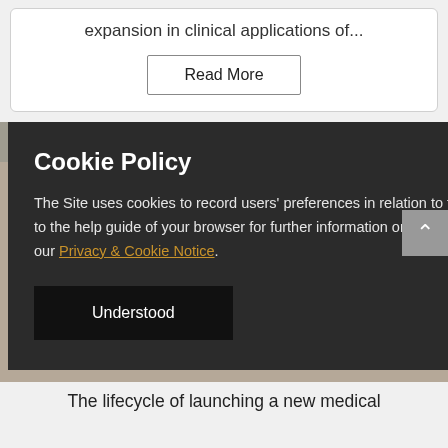expansion in clinical applications of...
Read More
Cookie Policy
The Site uses cookies to record users' preferences in relation to the functionality of accessibility. Please refer to the help guide of your browser for further information on cookies, including how to disable them. Review our Privacy & Cookie Notice.
Understood
The lifecycle of launching a new medical